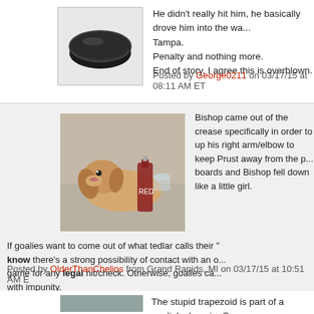[Figure (photo): Hockey puck avatar image]
He didn't really hit him, he basically drove him into the wa... Tampa.
Penalty and nothing more.
End of story, I agree this is overblown.
Posted by George0211 on 03/17/15 at 08:11 AM ET
[Figure (photo): Dog lying with bottles avatar image]
Bishop came out of the crease specifically in order to... up his right arm/elbow to keep Prust away from the p... boards and Bishop fell down like a little girl.

If goalies want to come out of what tedlar calls their "... know there's a strong possibility of contact with an o... game for any legal hit/check. Otherwise, goalies ca... with impunity.

Good hit. Bad call on Prust. Ridiculous dive by Bishop.
Posted by OlderThanChelios from Grand Rapids, MI on 03/17/15 at 10:51 AM E
[Figure (photo): Bottom partial avatar image]
The stupid trapezoid is part of a goalie's domain. Goa...